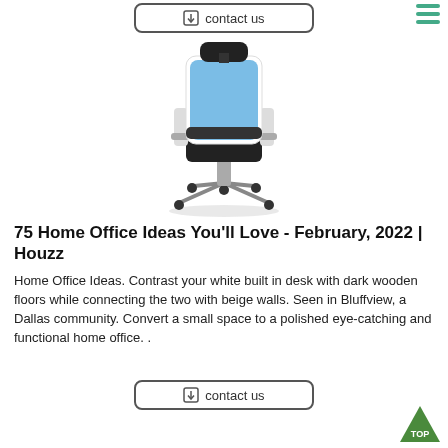contact us
[Figure (photo): Office chair with blue mesh back, black seat, white frame, headrest, armrests, and five-star wheeled base on a white background]
75 Home Office Ideas You'll Love - February, 2022 | Houzz
Home Office Ideas. Contrast your white built in desk with dark wooden floors while connecting the two with beige walls. Seen in Bluffview, a Dallas community. Convert a small space to a polished eye-catching and functional home office. .
contact us